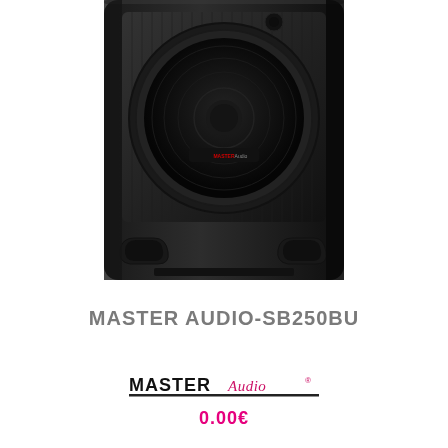[Figure (photo): Black portable speaker/subwoofer cabinet (Master Audio SB250BU) photographed from front-left angle, showing large circular woofer with mesh grille, carry handles at bottom, and a small brand badge on the speaker face.]
MASTER AUDIO-SB250BU
[Figure (logo): Master Audio brand logo: bold black 'MASTER' text followed by pink/red italic cursive 'Audio' with a registered trademark symbol, underlined by a black horizontal bar.]
0.00€